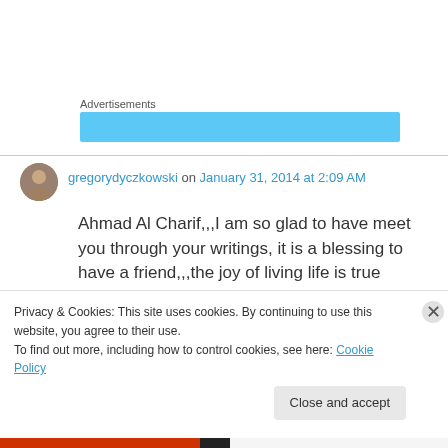Advertisements
[Figure (other): Light blue advertisement banner placeholder]
gregorydyczkowski on January 31, 2014 at 2:09 AM
Ahmad Al Charif,,,I am so glad to have meet you through your writings, it is a blessing to have a friend,,,the joy of living life is true friendship,,,it is my hopes to be your friend as I learn more of
Privacy & Cookies: This site uses cookies. By continuing to use this website, you agree to their use.
To find out more, including how to control cookies, see here: Cookie Policy
Close and accept